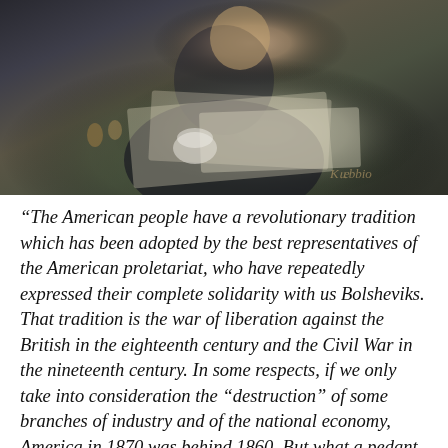[Figure (photo): Historical colorized photograph of a man in a dark suit sitting at a large desk covered with papers and documents, with inkwells visible on the desk. The image has a watermark or signature in the lower right area.]
“The American people have a revolutionary tradition which has been adopted by the best representatives of the American proletariat, who have repeatedly expressed their complete solidarity with us Bolsheviks. That tradition is the war of liberation against the British in the eighteenth century and the Civil War in the nineteenth century. In some respects, if we only take into consideration the “destruction” of some branches of industry and of the national economy, America in 1870 was behind 1860. But what a pedant, what an idiot would anyone be to deny on